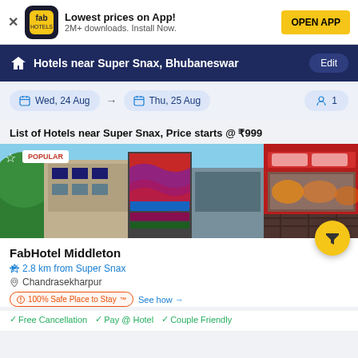Lowest prices on App! 2M+ downloads. Install Now. OPEN APP
Hotels near Super Snax, Bhubaneswar
Wed, 24 Aug → Thu, 25 Aug  1
List of Hotels near Super Snax, Price starts @ ₹999
[Figure (photo): Hotel exterior photo with POPULAR badge, showing a multi-story commercial building with signage, plus a side image of hotel room interior]
FabHotel Middleton
2.8 km from Super Snax
Chandrasekharpur
100% Safe Place to Stay™  See how →
✓ Free Cancellation  ✓ Pay @ Hotel  ✓ Couple Friendly